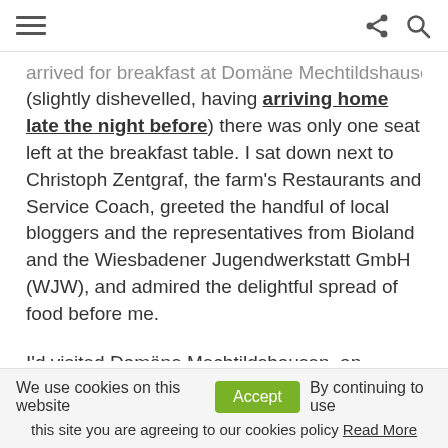[hamburger menu] [share icon] [search icon]
arrived for breakfast at Domäne Mechtildshausen (slightly dishevelled, having arriving home late the night before) there was only one seat left at the breakfast table. I sat down next to Christoph Zentgraf, the farm's Restaurants and Service Coach, greeted the handful of local bloggers and the representatives from Bioland and the Wiesbadener Jugendwerkstatt GmbH (WJW), and admired the delightful spread of food before me.

I'd visited Domäne Mechtildshausen, an organic farm in a suburb of Wiesbaden, on several previous
We use cookies on this website  [Accept]  By continuing to use this site you are agreeing to our cookies policy  Read More